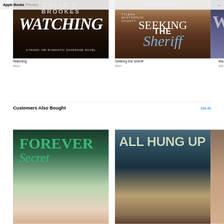Apple Books Preview
[Figure (photo): Book cover for 'Watching' (2012) - dark brown background with large white italic text]
Watching
2012
[Figure (photo): Book cover for 'Seeking the Sheriff' (2017) - dark wood background with title text]
Seeking the Sheriff
2017
[Figure (photo): Partial third book cover]
Wa…
201…
Customers Also Bought
See All
[Figure (photo): Book cover for 'Forever Secret' - teal/green text with woman's face]
[Figure (photo): Book cover for 'All Hung Up' - light teal text over forest/trees background]
[Figure (photo): Partial third book cover on far right]